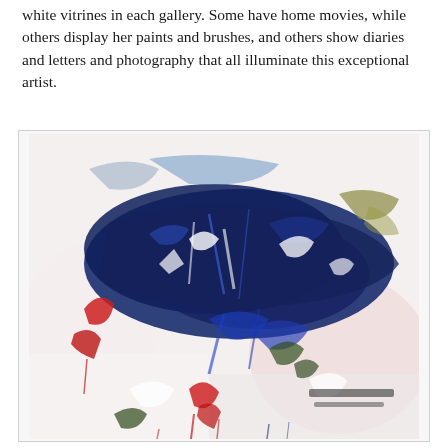white vitrines in each gallery. Some have home movies, while others display her paints and brushes, and others show diaries and letters and photography that all illuminate this exceptional artist.
[Figure (illustration): An abstract expressionist painting with bold brushstrokes in blue, red, white, and green on a white/pale pink background. The composition is energetic with paint drips and gestural marks suggesting natural forms.]